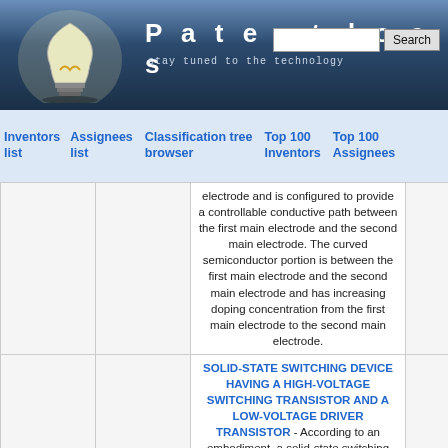[Figure (logo): Patentdocs website header with lightbulb logo, site title 'Patentdocs', tagline 'stay tuned to the technology', and search box with Search button]
Inventors list | Assignees list | Classification tree browser | Top 100 Inventors | Top 100 Assignees
|  |  | Patent / Description |  |
| --- | --- | --- | --- |
|  |  | electrode and is configured to provide a controllable conductive path between the first main electrode and the second main electrode. The curved semiconductor portion is between the first main electrode and the second main electrode and has increasing doping concentration from the first main electrode to the second main electrode. |  |
|  |  | SOLID-STATE SWITCHING DEVICE HAVING A HIGH-VOLTAGE SWITCHING TRANSISTOR AND A LOW-VOLTAGE DRIVER TRANSISTOR - According to an embodiment, a solid-state switching device includes a high-voltage switching transistor including a source, a drain and a gate, and being adapted for switching a high voltage on the basis of a switching signal, and a switching driver circuit operationally connected to the | 02.05 |